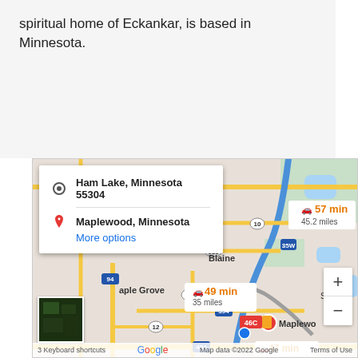spiritual home of Eckankar, is based in Minnesota.
[Figure (map): Google Maps screenshot showing a driving directions overlay from Ham Lake, Minnesota 55304 to Maplewood, Minnesota. Three route options shown: 57 min / 45.2 miles, 49 min / 35 miles, and 47 min. Map shows Blaine, Maple Grove, Maplewood areas with road network. Zoom controls visible on right. Satellite thumbnail in bottom-left corner. Google branding and map data copyright 2022 Google, Terms of Use shown at bottom.]